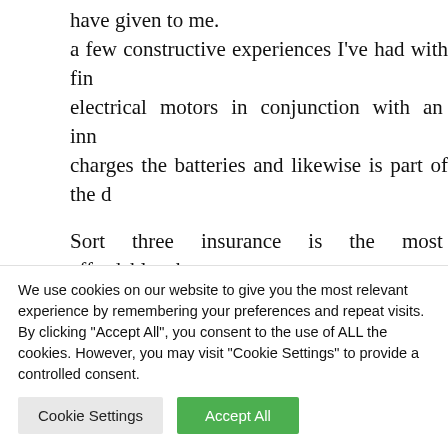have given to me. a few constructive experiences I've had with fin electrical motors in conjunction with an inn charges the batteries and likewise is part of the d
Sort three insurance is the most affordable ch protection. While wonderful oil, synthetics are typical oil and never always crucial for many en different love bikes but why they ride is be Whether it is a automotive or a motor bike, the
We use cookies on our website to give you the most relevant experience by remembering your preferences and repeat visits. By clicking "Accept All", you consent to the use of ALL the cookies. However, you may visit "Cookie Settings" to provide a controlled consent.
Cookie Settings | Accept All